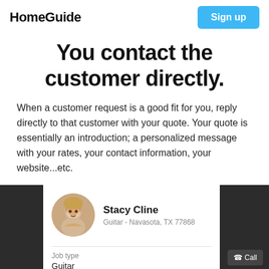HomeGuide | Sign up
You contact the customer directly.
When a customer request is a good fit for you, reply directly to that customer with your quote. Your quote is essentially an introduction; a personalized message with your rates, your contact information, your website...etc.
[Figure (screenshot): A customer profile card for Stacy Cline, Guitar - Navasota, TX 77868, showing Job type: Guitar, with a call button, set against a dark overlay background.]